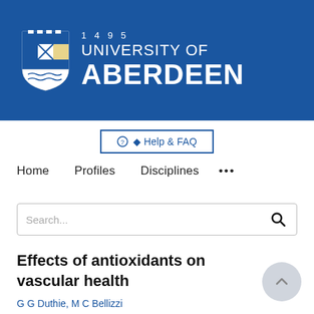[Figure (logo): University of Aberdeen logo with shield crest, year 1495, and university name in white on blue background]
Help & FAQ
Home   Profiles   Disciplines   ...
Search...
Effects of antioxidants on vascular health
G G Duthie, M C Bellizzi